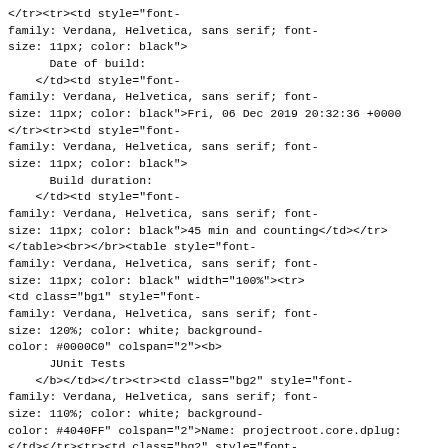</tr><tr><td style="font-family: Verdana, Helvetica, sans serif; font-size: 11px; color: black">
      Date of build:
    </td><td style="font-family: Verdana, Helvetica, sans serif; font-size: 11px; color: black">Fri, 06 Dec 2019 20:32:36 +0000</tr><tr><td style="font-family: Verdana, Helvetica, sans serif; font-size: 11px; color: black">
      Build duration:
    </td><td style="font-family: Verdana, Helvetica, sans serif; font-size: 11px; color: black">45 min and counting</td></tr></table><br></br><table style="font-family: Verdana, Helvetica, sans serif; font-size: 11px; color: black" width="100%"><tr>
<td class="bg1" style="font-family: Verdana, Helvetica, sans serif; font-size: 120%; color: white; background-color: #0000C0" colspan="2"><b>
      JUnit Tests
    </b></td></tr><tr><td class="bg2" style="font-family: Verdana, Helvetica, sans serif; font-size: 110%; color: white; background-color: #4040FF" colspan="2">Name: projectroot.core.dplug:</td></tr><tr><td class="bg2" style="font-family: Verdana, Helvetica, sans serif; font-size: 110%; color: white; background-color: #4040FF" colspan="2">Name: projectroot.core.tests